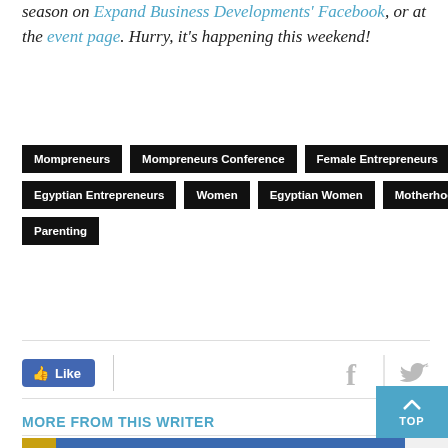season on Expand Business Developments' Facebook, or at the event page. Hurry, it's happening this weekend!
Mompreneurs
Mompreneurs Conference
Female Entrepreneurs
Egyptian Entrepreneurs
Women
Egyptian Women
Motherhood
Parenting
MORE FROM THIS WRITER
[Figure (photo): Photo showing a man in front of a Subway restaurant sign and a partial golden logo on the left]